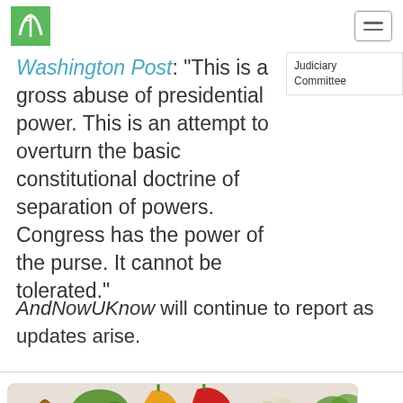AndNowUKnow logo and navigation
Washington Post: “This is a gross abuse of presidential power. This is an attempt to overturn the basic constitutional doctrine of separation of powers. Congress has the power of the purse. It cannot be tolerated.”
Judiciary Committee
AndNowUKnow will continue to report as updates arise.
[Figure (photo): Overhead photo of fresh vegetables including red onion, colorful peppers, garlic, parsley, and other produce on a light surface, with a green plant logo overlay at the bottom center.]